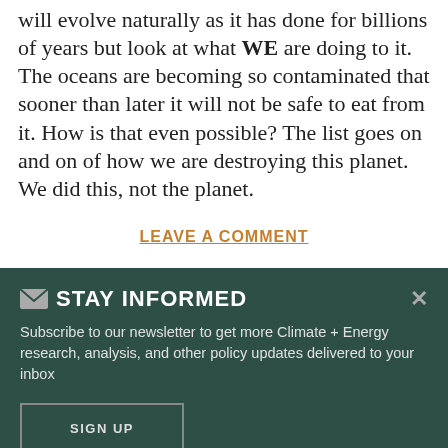will evolve naturally as it has done for billions of years but look at what WE are doing to it. The oceans are becoming so contaminated that sooner than later it will not be safe to eat from it. How is that even possible? The list goes on and on of how we are destroying this planet. We did this, not the planet.
LEAVE A COMMENT
STAY INFORMED
Subscribe to our newsletter to get more Climate + Energy research, analysis, and other policy updates delivered to your inbox
SIGN UP